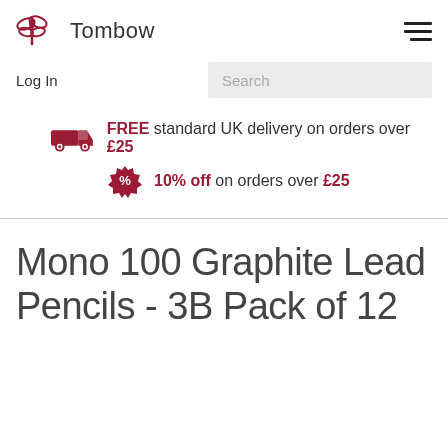Tombow
Log In
Search
FREE standard UK delivery on orders over £25
10% off on orders over £25
Mono 100 Graphite Lead Pencils - 3B Pack of 12